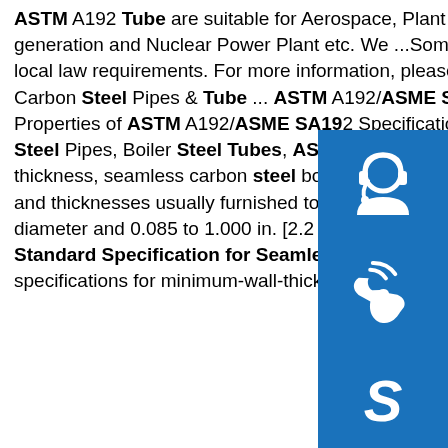ASTM A192 Tube are suitable for Aerospace, Plant manufacturing, Machine engineering, Power generation and Nuclear Power Plant etc. We ...Some results are removed in response to a notice of local law requirements. For more information, please see here.sp.info ASTM A192/ASME SA192 Carbon Steel Pipes & Tube ... ASTM A192/ASME SA192? Chemical Composition Mechanical Properties of ASTM A192/ASME SA192 Specifications for SA192 Steel Pipessp.info ASTM Boiler Steel Pipes, Boiler Steel Tubes, ASTM ...ASTM A192/A192M specifications covers minimum-wall-thickness, seamless carbon steel boiler and super tubes for high pressure service. The tubing sizes and thicknesses usually furnished to this specification are 1⁄2 in. to 7 in. [12.7 to 177.8 mm] outside diameter and 0.085 to 1.000 in. [2.2 to 25.4 mm], inclusive, in minimum wall thickness.sp.info Standard Specification for Seamless Carbon Steel Boiler ...This guide covers standard specifications for minimum-wall-thickness, seamless
[Figure (illustration): Three blue contact/social icons stacked vertically on the right side: headset/customer support icon, phone/call icon, Skype icon.]